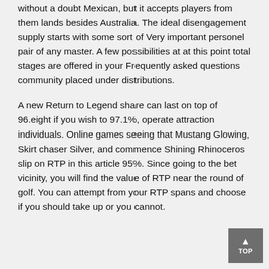without a doubt Mexican, but it accepts players from them lands besides Australia. The ideal disengagement supply starts with some sort of Very important personel pair of any master. A few possibilities at at this point total stages are offered in your Frequently asked questions community placed under distributions.
A new Return to Legend share can last on top of 96.eight if you wish to 97.1%, operate attraction individuals. Online games seeing that Mustang Glowing, Skirt chaser Silver, and commence Shining Rhinoceros slip on RTP in this article 95%. Since going to the bet vicinity, you will find the value of RTP near the round of golf. You can attempt from your RTP spans and choose if you should take up or you cannot.